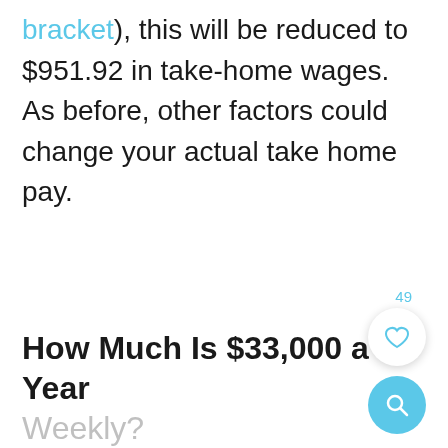bracket), this will be reduced to $951.92 in take-home wages. As before, other factors could change your actual take home pay.
How Much Is $33,000 a Year Weekly?